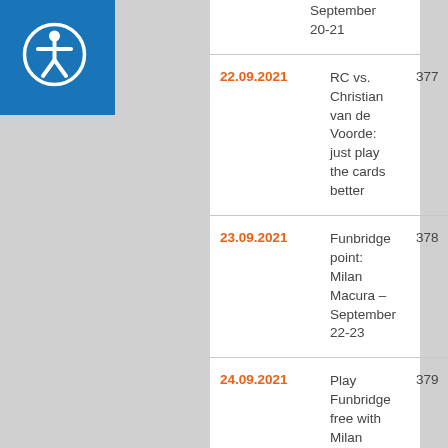[Figure (logo): Accessibility icon (person in circle) on blue background, top-left corner]
| Date | Title | Page |
| --- | --- | --- |
|  | September 20-21 |  |
| 22.09.2021 | RC vs. Christian van de Voorde: just play the cards better | 377 |
| 23.09.2021 | Funbridge point: Milan Macura – September 22-23 | 378 |
| 24.09.2021 | Play Funbridge free with Milan | 379 |
| 27.09.2021 | Win the Teams with me | 380 |
| 28.09.2021 | Funbridge points: Milan Macura, September 27-28 | 381 |